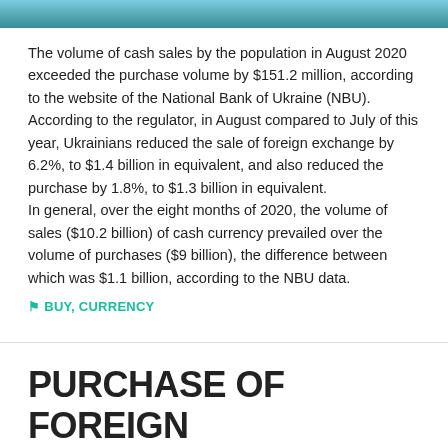[Figure (photo): Cropped photo strip at top of page, appearing to show an outdoor or architectural scene in blue/teal tones]
The volume of cash sales by the population in August 2020 exceeded the purchase volume by $151.2 million, according to the website of the National Bank of Ukraine (NBU). According to the regulator, in August compared to July of this year, Ukrainians reduced the sale of foreign exchange by 6.2%, to $1.4 billion in equivalent, and also reduced the purchase by 1.8%, to $1.3 billion in equivalent. In general, over the eight months of 2020, the volume of sales ($10.2 billion) of cash currency prevailed over the volume of purchases ($9 billion), the difference between which was $1.1 billion, according to the NBU data.
BUY, CURRENCY
PURCHASE OF FOREIGN CURRENCY BY NATIONAL BANK OF UKRAINE IN INTERBANK MARKET